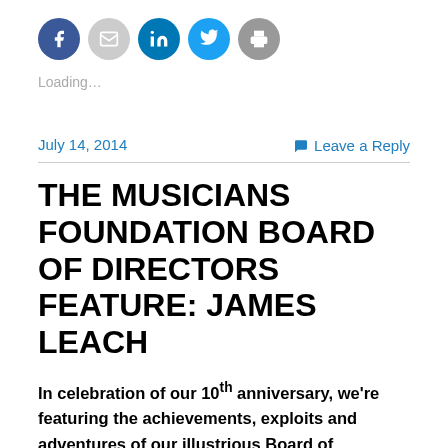[Figure (other): Row of five social media sharing icon buttons: Facebook (blue circle), Email (gray circle), LinkedIn (blue circle), Twitter (blue circle), Print (gray circle)]
Loading...
July 14, 2014
Leave a Reply
THE MUSICIANS FOUNDATION BOARD OF DIRECTORS FEATURE: JAMES LEACH
In celebration of our 10th anniversary, we're featuring the achievements, exploits and adventures of our illustrious Board of Directors across the music industry.